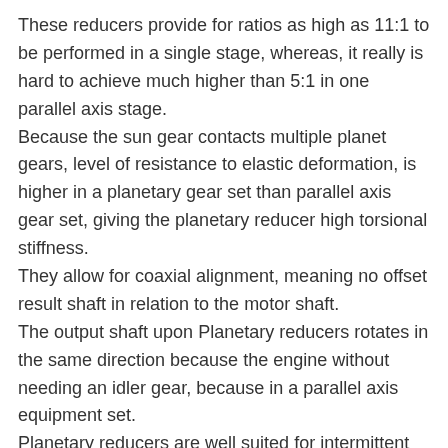These reducers provide for ratios as high as 11:1 to be performed in a single stage, whereas, it really is hard to achieve much higher than 5:1 in one parallel axis stage. Because the sun gear contacts multiple planet gears, level of resistance to elastic deformation, is higher in a planetary gear set than parallel axis gear set, giving the planetary reducer high torsional stiffness. They allow for coaxial alignment, meaning no offset result shaft in relation to the motor shaft. The output shaft upon Planetary reducers rotates in the same direction because the engine without needing an idler gear, because in a parallel axis equipment set. Planetary reducers are well suited for intermittent duty applications but also can be utilized in continuous duty applications. Finally, Ever-Power planetary's have a housing, meaning the ring gear is integrated into the outer